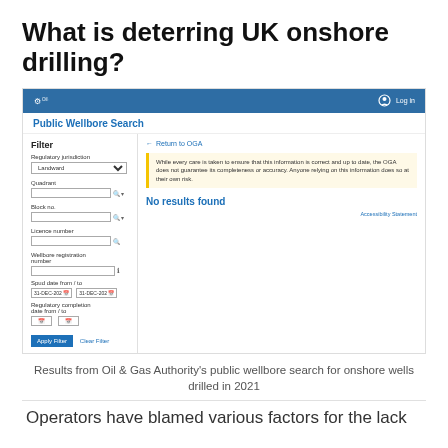What is deterring UK onshore drilling?
[Figure (screenshot): Screenshot of the Oil & Gas Authority Public Wellbore Search website showing a filter panel on the left with Regulatory jurisdiction set to 'Landward', Quadrant, Block no., Licence number, Wellbore registration number, Spud date from/to (31-DEC-202), Regulatory completion date from/to fields, and Apply Filter / Clear Filter buttons. The results panel on the right shows a return link to OGA, a yellow warning box stating 'While every care is taken to ensure that this information is correct and up to date, the OGA does not guarantee its completeness or accuracy. Anyone relying on this information does so at their own risk.' and below that 'No results found'.]
Results from Oil & Gas Authority's public wellbore search for onshore wells drilled in 2021
Operators have blamed various factors for the lack